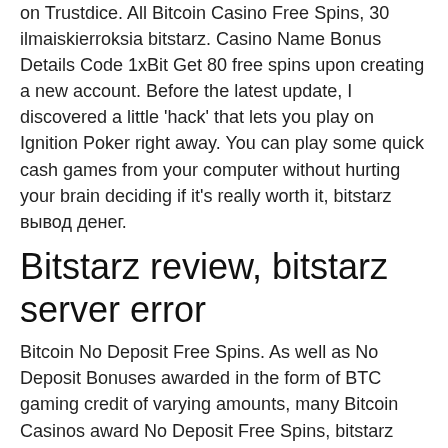on Trustdice. All Bitcoin Casino Free Spins, 30 ilmaiskierroksia bitstarz. Casino Name Bonus Details Code 1xBit Get 80 free spins upon creating a new account. Before the latest update, I discovered a little 'hack' that lets you play on Ignition Poker right away. You can play some quick cash games from your computer without hurting your brain deciding if it's really worth it, bitstarz вывод денег.
Bitstarz review, bitstarz server error
Bitcoin No Deposit Free Spins. As well as No Deposit Bonuses awarded in the form of BTC gaming credit of varying amounts, many Bitcoin Casinos award No Deposit Free Spins, bitstarz tours gratuits promo code. This means when you sign up to a Bitcoin Casino they'll give you a certain amount to play with, could be 20 free spins,